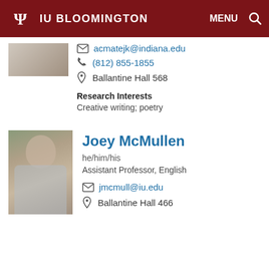IU BLOOMINGTON   MENU
acmatejk@indiana.edu
(812) 855-1855
Ballantine Hall 568
Research Interests
Creative writing; poetry
Joey McMullen
he/him/his
Assistant Professor, English
jmcmull@iu.edu
Ballantine Hall 466